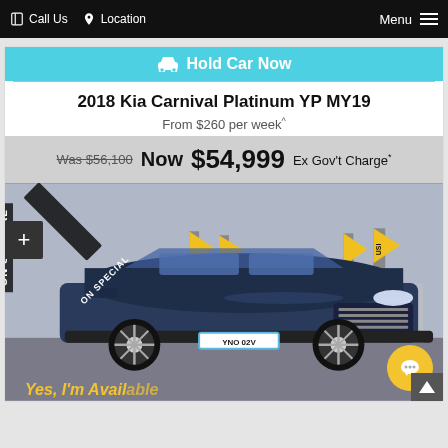Call Us   Location   Menu
Hold Car Now
2018 Kia Carnival Platinum YP MY19
From $260 per week^
Was $56,100 Now $54,999 Ex Gov't Charge*
[Figure (photo): A dark blue 2018 Kia Carnival Platinum YP MY19 SUV/minivan parked at a dealership lot with yellow promotional flags visible in the background. A diagonal 'ON SPECIAL' banner is visible on the windshield area. The vehicle has license plate YNO 02V.]
Yes, I'm Available